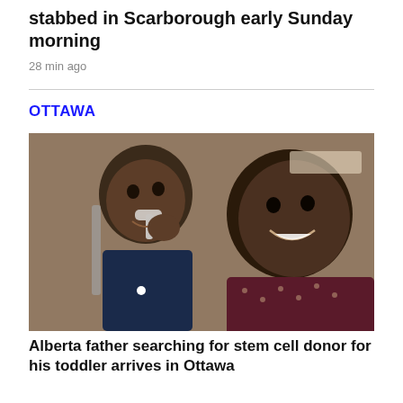stabbed in Scarborough early Sunday morning
28 min ago
OTTAWA
[Figure (photo): A toddler with a nasal feeding tube smiling alongside an adult man smiling, both of Black African descent, in what appears to be a hospital or indoor setting.]
Alberta father searching for stem cell donor for his toddler arrives in Ottawa